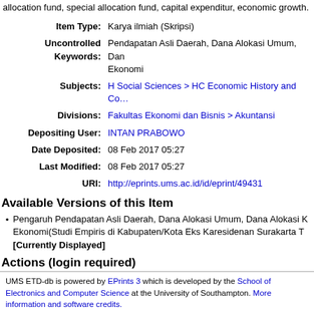allocation fund, special allocation fund, capital expenditur, economic growth.
| Item Type: | Karya ilmiah (Skripsi) |
| Uncontrolled Keywords: | Pendapatan Asli Daerah, Dana Alokasi Umum, Dan… Ekonomi |
| Subjects: | H Social Sciences > HC Economic History and Co… |
| Divisions: | Fakultas Ekonomi dan Bisnis > Akuntansi |
| Depositing User: | INTAN PRABOWO |
| Date Deposited: | 08 Feb 2017 05:27 |
| Last Modified: | 08 Feb 2017 05:27 |
| URI: | http://eprints.ums.ac.id/id/eprint/49431 |
Available Versions of this Item
Pengaruh Pendapatan Asli Daerah, Dana Alokasi Umum, Dana Alokasi K… Ekonomi(Studi Empiris di Kabupaten/Kota Eks Karesidenan Surakarta T… [Currently Displayed]
Actions (login required)
View Item
UMS ETD-db is powered by EPrints 3 which is developed by the School of Electronics and Computer Science at the University of Southampton. More information and software credits.